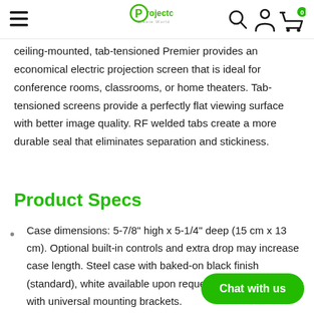Projector Create World — navigation bar with hamburger menu, logo, search, account, cart icons
ceiling-mounted, tab-tensioned Premier provides an economical electric projection screen that is ideal for conference rooms, classrooms, or home theaters. Tab-tensioned screens provide a perfectly flat viewing surface with better image quality. RF welded tabs create a more durable seal that eliminates separation and stickiness.
Product Specs
Case dimensions: 5-7/8" high x 5-1/4" deep (15 cm x 13 cm). Optional built-in controls and extra drop may increase case length. Steel case with baked-on black finish (standard), white available upon request, including endcaps with universal mounting brackets.